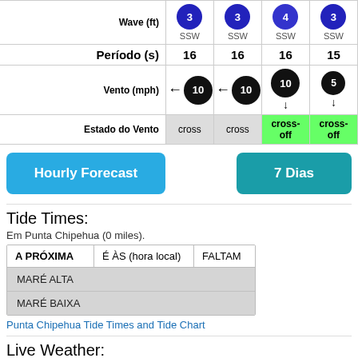|  | Col1 | Col2 | Col3 | Col4 |
| --- | --- | --- | --- | --- |
| Wave (ft) | SSW | SSW | SSW | SSW |
| Período (s) | 16 | 16 | 16 | 15 |
| Vento (mph) | 10 | 10 | 10 | 5 |
| Estado do Vento | cross | cross | cross-off | cross-off |
Hourly Forecast
7 Dias
Tide Times:
Em Punta Chipehua (0 miles).
| A PRÓXIMA | É ÀS (hora local) | FALTAM |
| --- | --- | --- |
| MARÉ ALTA |  |  |
| MARÉ BAIXA |  |  |
Punta Chipehua Tide Times and Tide Chart
Live Weather: